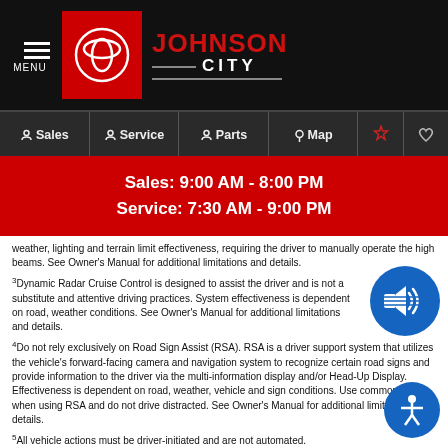MENU | Johnson City Toyota - Sales, Service, Parts, Map
Sales: 9:00 AM - 8:00 PM
Service: 7:30 AM - 9:00 PM
weather, lighting and terrain limit effectiveness, requiring the driver to manually operate the high beams. See Owner's Manual for additional limitations and details.
Dynamic Radar Cruise Control is designed to assist the driver and is not a substitute and attentive driving practices. System effectiveness is dependent on road, weather conditions. See Owner's Manual for additional limitations and details.
Do not rely exclusively on Road Sign Assist (RSA). RSA is a driver support system that utilizes the vehicle's forward-facing camera and navigation system to recognize certain road signs and provide information to the driver via the multi-information display and/or Head-Up Display. Effectiveness is dependent on road, weather, vehicle and sign conditions. Use common sense when using RSA and do not drive distracted. See Owner's Manual for additional limitations and details.
All vehicle actions must be driver-initiated and are not automated.
Lane Tracing Assist (LTA) is designed to read visible lane markers and detect other vehicles under certain conditions. When potential lane departure is detected, LTA provides a visual warning and either an audible alert or vibration in the steering wheel and can apply a slight steering force. It is not a collision-avoidance system or a substitute for safe and attentive driving. Effectiveness is dependent on many factors including road, weather and vehicle conditions. See Owner's Manual for additional limitations and details.
Full-Speed Range Dynamic Radar Cruise Control is designed to assist the driver and is not a substitute for safe and attentive driving practices. System effectiveness is dependent on road, weather and traffic conditions. See Owner's Manual for additional limitations and details.